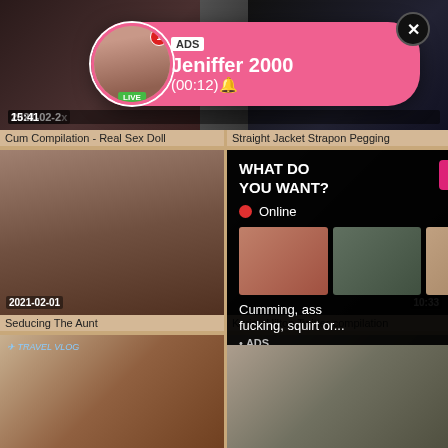[Figure (screenshot): Adult video website screenshot showing a grid of video thumbnails with an ad popup overlay for 'Jeniffer 2000 (00:12)' and a 'WHAT DO YOU WANT? WATCH' popup with 'Online' status and thumbnail images, text 'Cumming, ass fucking, squirt or... • ADS'. Video titles: 'Cum Compilation - Real Sex Doll', 'Straight Jacket Strapon Pegging', 'Seducing The Aunt', 'Kariny Hilton Twitter compilation'. Timestamps: 2021-02-2x, 15:41, 10:33.]